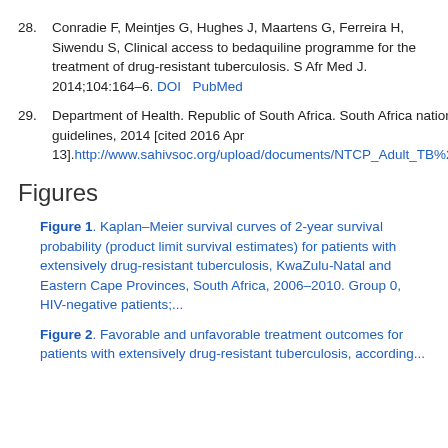28. Conradie F, Meintjes G, Hughes J, Maartens G, Ferreira H, Siwendu S, Clinical access to bedaquiline programme for the treatment of drug-resistant tuberculosis. S Afr Med J. 2014;104:164–6. DOI  PubMed
29. Department of Health. Republic of South Africa. South Africa national tuberculosis management guidelines, 2014 [cited 2016 Apr 13].http://www.sahivsoc.org/upload/documents/NTCP_Adult_TB%20Guidelines%2027.5.2014.pdf
Figures
Figure 1. Kaplan–Meier survival curves of 2-year survival probability (product limit survival estimates) for patients with extensively drug-resistant tuberculosis, KwaZulu-Natal and Eastern Cape Provinces, South Africa, 2006–2010. Group 0, HIV-negative patients;...
Figure 2. Favorable and unfavorable treatment outcomes for patients with extensively drug-resistant tuberculosis, according...